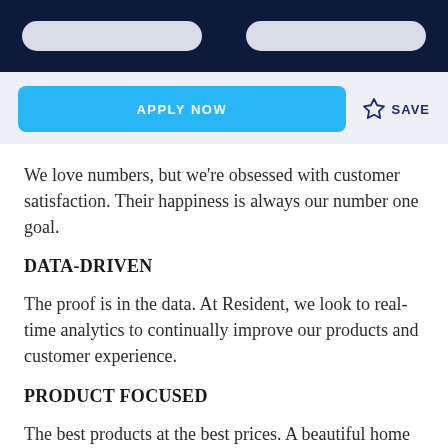APPLY NOW  ☆  SAVE
We love numbers, but we're obsessed with customer satisfaction. Their happiness is always our number one goal.
DATA-DRIVEN
The proof is in the data. At Resident, we look to real-time analytics to continually improve our products and customer experience.
PRODUCT FOCUSED
The best products at the best prices. A beautiful home should be comfortable, high-quality, and most of all attainable.